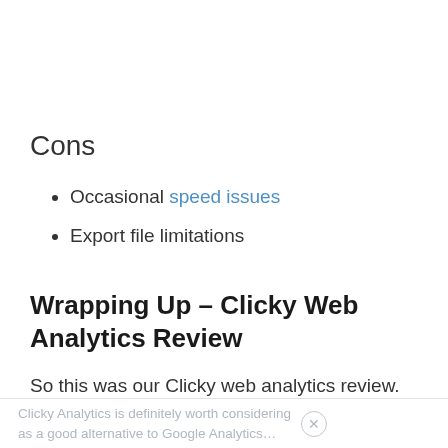Cons
Occasional speed issues
Export file limitations
Wrapping Up – Clicky Web Analytics Review
So this was our Clicky web analytics review.
Clicky Analytics is definitely worth considering as a good alternative to Google Analytics…